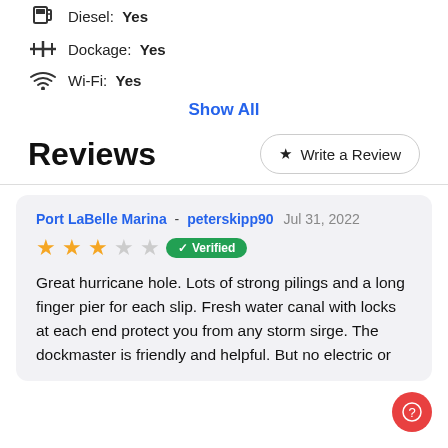Diesel: Yes
Dockage: Yes
Wi-Fi: Yes
Show All
Reviews
Write a Review
Port LaBelle Marina - peterskipp90 Jul 31, 2022 ★★★☆☆ Verified Great hurricane hole. Lots of strong pilings and a long finger pier for each slip. Fresh water canal with locks at each end protect you from any storm sirge. The dockmaster is friendly and helpful. But no electric or